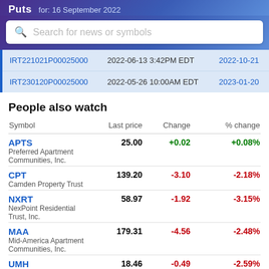Puts for: 16 September 2022
| Symbol | Last Updated | Expiration |
| --- | --- | --- |
| IRT221021P00025000 | 2022-06-13 3:42PM EDT | 2022-10-21 |
| IRT230120P00025000 | 2022-05-26 10:00AM EDT | 2023-01-20 |
People also watch
| Symbol | Last price | Change | % change |
| --- | --- | --- | --- |
| APTS
Preferred Apartment Communities, Inc. | 25.00 | +0.02 | +0.08% |
| CPT
Camden Property Trust | 139.20 | -3.10 | -2.18% |
| NXRT
NexPoint Residential Trust, Inc. | 58.97 | -1.92 | -3.15% |
| MAA
Mid-America Apartment Communities, Inc. | 179.31 | -4.56 | -2.48% |
| UMH
UMH Properties, Inc. | 18.46 | -0.49 | -2.59% |